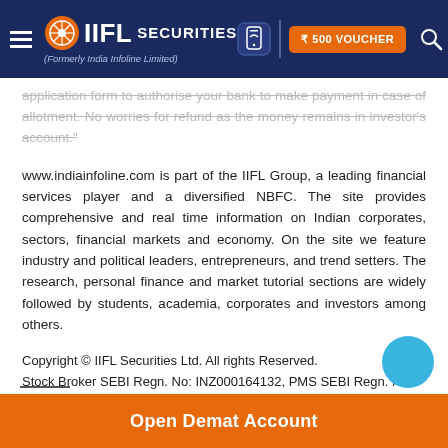IIFL Securities (Formerly India Infoline Limited) | ₹500 VOUCHER
application form to authorise your bank to make payment in case of allotment. No worries for refund as the money remains in investor's account."
www.indiainfoline.com is part of the IIFL Group, a leading financial services player and a diversified NBFC. The site provides comprehensive and real time information on Indian corporates, sectors, financial markets and economy. On the site we feature industry and political leaders, entrepreneurs, and trend setters. The research, personal finance and market tutorial sections are widely followed by students, academia, corporates and investors among others.
Copyright © IIFL Securities Ltd. All rights Reserved.
Stock Broker SEBI Regn. No: INZ000164132, PMS SEBI Regn. No: INP000002213, IA SEBI Regn. No: INA000000623, SEBI RA Regn. No: INH000000248
Open Demat Account